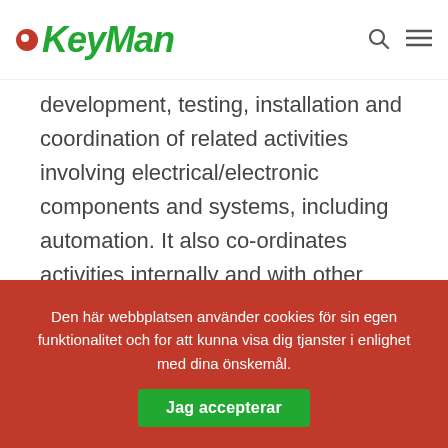KeyMan
development, testing, installation and coordination of related activities involving electrical/electronic components and systems, including automation. It also co-ordinates activities internally and with other groups to effectively accomplish objectives requiring knowledge of associated functions and related
Den här webbplatsen använder cookies för sin egen funktionalitet och for att kunna visa dig tjanster i enlighet med dina önskemål. Jag accepterar